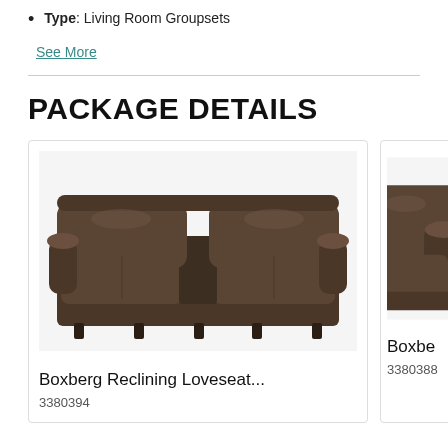Type: Living Room Groupsets
See More
PACKAGE DETAILS
[Figure (photo): Photo of a dark brown leather reclining loveseat with center console, shown from the front]
Boxberg Reclining Loveseat...
3380394
[Figure (photo): Partial photo of a dark brown leather reclining sofa/chair, cropped on right side]
Boxbe...
3380388